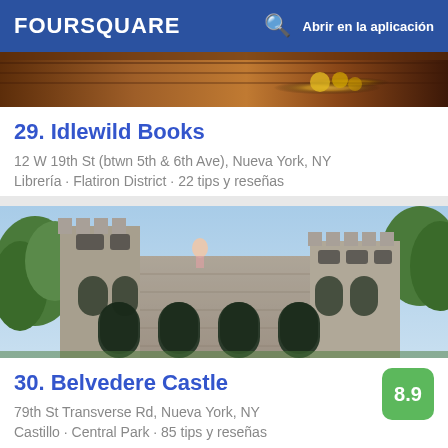FOURSQUARE   Abrir en la aplicación
[Figure (photo): Partial interior photo of Idlewild Books showing warm wood tones and lighting]
29. Idlewild Books
12 W 19th St (btwn 5th & 6th Ave), Nueva York, NY
Librería · Flatiron District · 22 tips y reseñas
[Figure (photo): Photo of Belvedere Castle in Central Park, New York, showing stone castle architecture with arched windows and green trees in background]
30. Belvedere Castle
79th St Transverse Rd, Nueva York, NY
Castillo · Central Park · 85 tips y reseñas